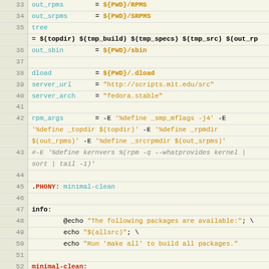[Figure (screenshot): Code editor showing Makefile lines 33–62 with syntax highlighting: line numbers in gray left column, variable names in teal/cyan, values in orange, targets in red, comments in gray italic, shell commands in dark text with bold make variables.]